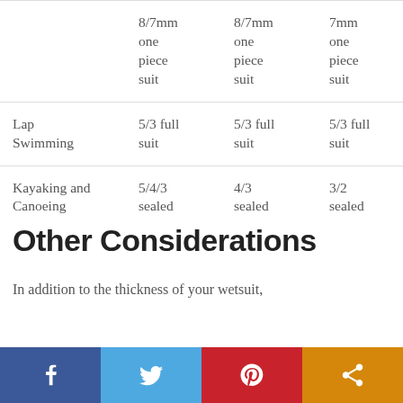|  | 8/7mm one piece suit | 8/7mm one piece suit | 7mm one piece suit |
| --- | --- | --- | --- |
| Lap Swimming | 5/3 full suit | 5/3 full suit | 5/3 full suit |
| Kayaking and Canoeing | 5/4/3 sealed | 4/3 sealed | 3/2 sealed |
Other Considerations
In addition to the thickness of your wetsuit,